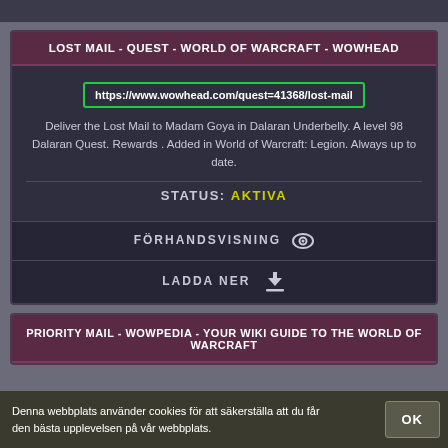LOST MAIL - QUEST - WORLD OF WARCRAFT - WOWHEAD
https://www.wowhead.com/quest=41368/lost-mail
Deliver the Lost Mail to Madam Goya in Dalaran Underbelly. A level 98 Dalaran Quest. Rewards . Added in World of Warcraft: Legion. Always up to date.
STATUS: AKTIVA
FÖRHANDSVISNING
LADDA NER
PRIORITY MAIL - WOWPEDIA - YOUR WIKI GUIDE TO THE WORLD OF WARCRAFT
Denna webbplats använder cookies för att säkerställa att du får den bästa upplevelsen på vår webbplats.